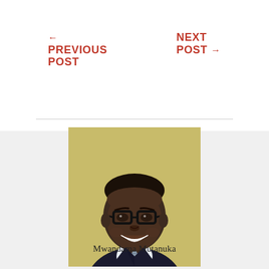← PREVIOUS POST
NEXT POST →
[Figure (photo): Professional headshot of Mwandama Mutanuka, a man wearing glasses and a dark suit with a light blue shirt and striped tie, smiling against a light beige background.]
Mwandama Mutanuka